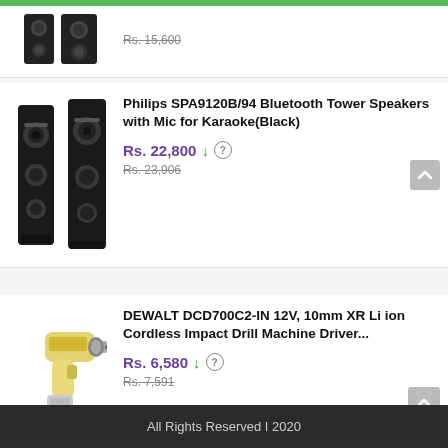[Figure (other): Partial product listing at top - small speaker image with strikethrough price Rs. 15,600]
[Figure (other): Philips SPA9120B/94 Bluetooth Tower Speakers product image - two tall black speakers]
Philips SPA9120B/94 Bluetooth Tower Speakers with Mic for Karaoke(Black)
Rs. 22,800 ↓ ? Rs. 23,906
[Figure (other): DEWALT DCD700C2-IN cordless drill machine product image - yellow drill]
DEWALT DCD700C2-IN 12V, 10mm XR Li ion Cordless Impact Drill Machine Driver...
Rs. 6,580 ↓ ? Rs. 7,591
All Rights Reserved I 2020